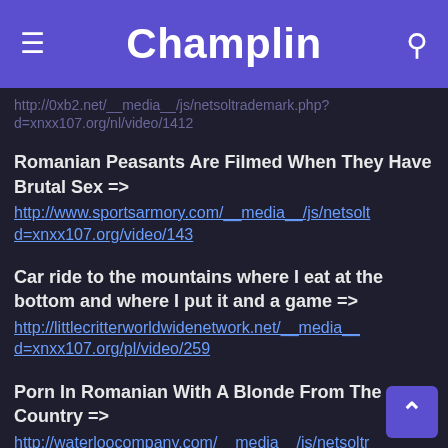Champlin
http://0xb2.net/__media__/js/netsoltrademark.php?d=xnxx107.org/nl/video/1412
Romanian Peasants Are Filmed When They Have Brutal Sex =>
http://www.sportsarmory.com/__media__/js/netsoltd=xnxx107.org/video/143
Car ride to the mountains where I eat at the bottom and where I put it and a game =>
http://littlecritterworldwidenetwork.net/__media__d=xnxx107.org/pl/video/259
Porn In Romanian With A Blonde From The Country =>
http://waterloocompany.com/__media__/js/netsoltr d=xnxx107.org/tr/video/616
A skinny brunette has to fuck a lot to grow her ass =>
http://www.airpowerincorporated.net/__media__...